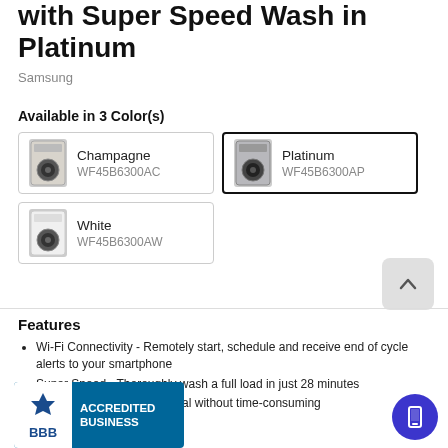with Super Speed Wash in Platinum
Samsung
Available in 3 Color(s)
Champagne WF45B6300AC
Platinum WF45B6300AP
White WF45B6300AW
Features
Wi-Fi Connectivity - Remotely start, schedule and receive end of cycle alerts to your smartphone
Super Speed - Thoroughly wash a full load in just 28 minutes
Steam - Gentle stain removal without time-consuming
[Figure (logo): BBB Accredited Business badge with blue background]